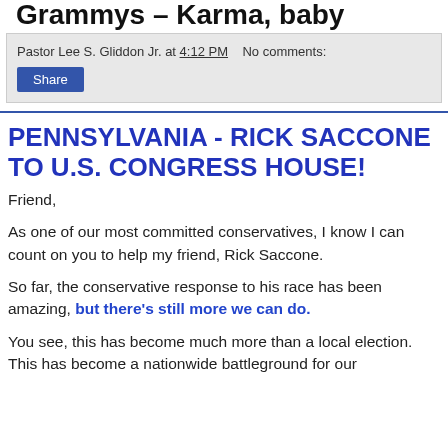Grammys – Karma, baby
Pastor Lee S. Gliddon Jr. at 4:12 PM   No comments:
Share
PENNSYLVANIA - RICK SACCONE TO U.S. CONGRESS HOUSE!
Friend,
As one of our most committed conservatives, I know I can count on you to help my friend, Rick Saccone.
So far, the conservative response to his race has been amazing, but there's still more we can do.
You see, this has become much more than a local election. This has become a nationwide battleground for our